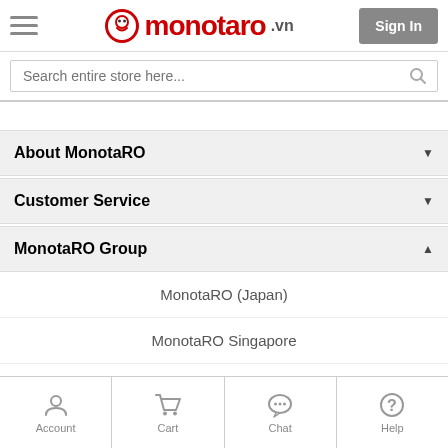monotaro.vn — Sign In
Search entire store here...
About MonotaRO
Customer Service
MonotaRO Group
MonotaRO (Japan)
MonotaRO Singapore
Account  Cart  Chat  Help